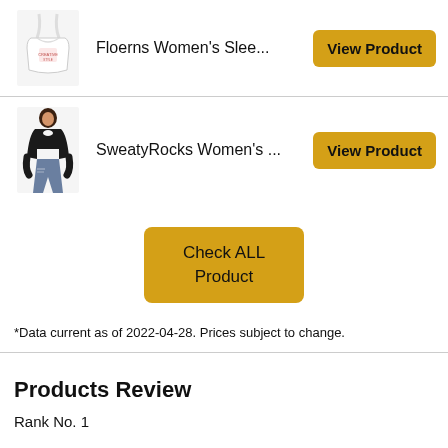[Figure (photo): White crop top clothing item - Floerns Women's Sleeveless top product image]
Floerns Women's Slee...
View Product
[Figure (photo): Woman wearing black long sleeve top with cutout and ripped jeans - SweatyRocks Women's product image]
SweatyRocks Women's ...
View Product
Check ALL Product
*Data current as of 2022-04-28. Prices subject to change.
Products Review
Rank No. 1